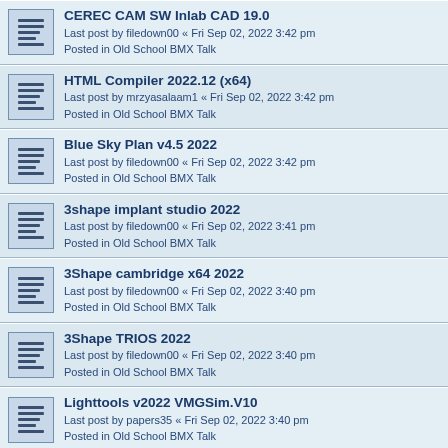CEREC CAM SW Inlab CAD 19.0
Last post by filedown00 « Fri Sep 02, 2022 3:42 pm
Posted in Old School BMX Talk
HTML Compiler 2022.12 (x64)
Last post by mrzyasalaam1 « Fri Sep 02, 2022 3:42 pm
Posted in Old School BMX Talk
Blue Sky Plan v4.5 2022
Last post by filedown00 « Fri Sep 02, 2022 3:42 pm
Posted in Old School BMX Talk
3shape implant studio 2022
Last post by filedown00 « Fri Sep 02, 2022 3:41 pm
Posted in Old School BMX Talk
3Shape cambridge x64 2022
Last post by filedown00 « Fri Sep 02, 2022 3:40 pm
Posted in Old School BMX Talk
3Shape TRIOS 2022
Last post by filedown00 « Fri Sep 02, 2022 3:40 pm
Posted in Old School BMX Talk
Lighttools v2022 VMGSim.V10
Last post by papers35 « Fri Sep 02, 2022 3:40 pm
Posted in Old School BMX Talk
3Shape OrthoAnalyzer 2022
Last post by filedown00 « Fri Sep 02, 2022 3:39 pm
Posted in Old School BMX Talk
3Shape Dental System 2022
Last post by filedown00 « Fri Sep 02, 2022 3:38 pm
Posted in Old School BMX Talk
3Shape Dental Desktop 2022
Last post by filedown00 « Fri Sep 02, 2022 3:38 pm
Posted in Old School BMX Talk